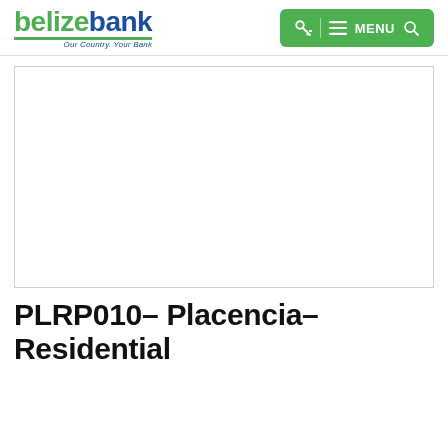belize bank — Our Country. Your Bank. MENU
[Figure (photo): White rectangular image placeholder area with a thin gray border, representing a property photo for PLRP010 Placencia Residential listing.]
PLRP010– Placencia–Residential